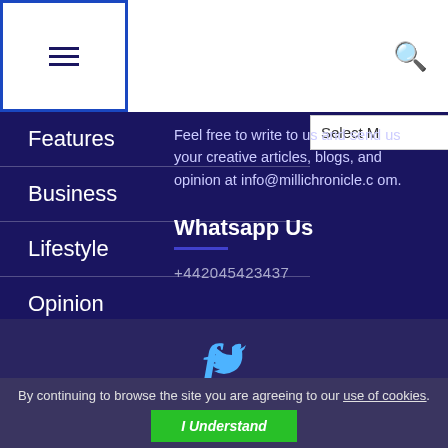Navigation menu bar with hamburger icon and search icon
Features
Business
Lifestyle
Opinion
Blogs
Top Stories
Webinars
About Us
Feel free to write to us and send us your creative articles, blogs, and opinion at info@millichronicle.com.
Whatsapp Us
+442045423437
[Figure (other): Social media icons: Facebook and Twitter]
By continuing to browse the site you are agreeing to our use of cookies.
I Understand